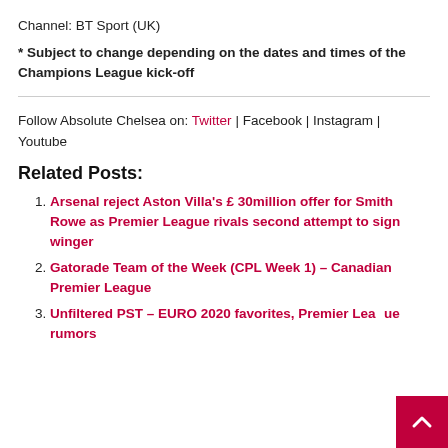Channel: BT Sport (UK)
* Subject to change depending on the dates and times of the Champions League kick-off
Follow Absolute Chelsea on: Twitter | Facebook | Instagram | Youtube
Related Posts:
Arsenal reject Aston Villa's £ 30million offer for Smith Rowe as Premier League rivals second attempt to sign winger
Gatorade Team of the Week (CPL Week 1) – Canadian Premier League
Unfiltered PST – EURO 2020 favorites, Premier League rumors